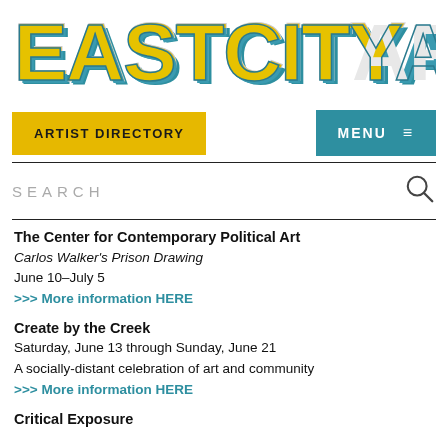[Figure (logo): EastCityArt logo in large stylized block letters, yellow and teal/blue colors with shadow effect]
ARTIST DIRECTORY
MENU
SEARCH
The Center for Contemporary Political Art
Carlos Walker's Prison Drawing
June 10–July 5
>>> More information HERE
Create by the Creek
Saturday, June 13 through Sunday, June 21
A socially-distant celebration of art and community
>>> More information HERE
Critical Exposure